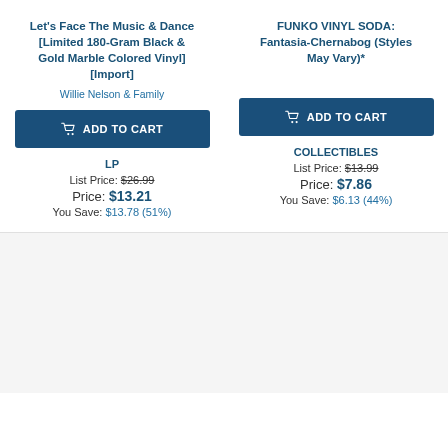Let's Face The Music & Dance [Limited 180-Gram Black & Gold Marble Colored Vinyl] [Import]
Willie Nelson & Family
FUNKO VINYL SODA: Fantasia-Chernabog (Styles May Vary)*
ADD TO CART
ADD TO CART
LP
List Price: $26.99
Price: $13.21
You Save: $13.78 (51%)
COLLECTIBLES
List Price: $13.99
Price: $7.86
You Save: $6.13 (44%)